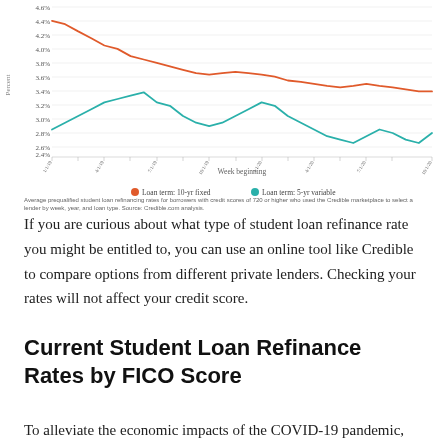[Figure (line-chart): ]
Average prequalified student loan refinancing rates for borrowers with credit scores of 720 or higher who used the Credible marketplace to select a lender by week, year, and loan type. Source: Credible.com analysis.
If you are curious about what type of student loan refinance rate you might be entitled to, you can use an online tool like Credible to compare options from different private lenders. Checking your rates will not affect your credit score.
Current Student Loan Refinance Rates by FICO Score
To alleviate the economic impacts of the COVID-19 pandemic, interest and payments on federal student loans have been